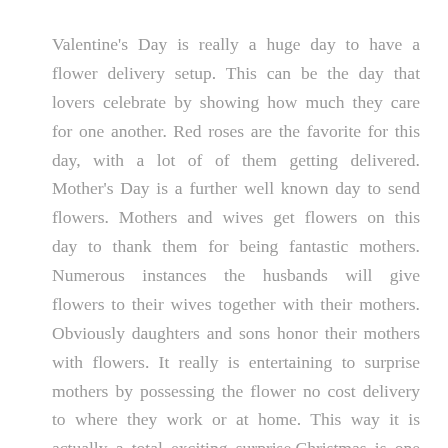Valentine's Day is really a huge day to have a flower delivery setup. This can be the day that lovers celebrate by showing how much they care for one another. Red roses are the favorite for this day, with a lot of of them getting delivered. Mother's Day is a further well known day to send flowers. Mothers and wives get flowers on this day to thank them for being fantastic mothers. Numerous instances the husbands will give flowers to their wives together with their mothers. Obviously daughters and sons honor their mothers with flowers. It really is entertaining to surprise mothers by possessing the flower no cost delivery to where they work or at home. This way it is actually a total exciting surprise.Christmas is one additional vacation that plants and flowers could be sent as presents. Poinsettias are nice to send by means of delivery at this time of year. They are by far the most preferred flower for the season. Get a lot more details about Best toronto flower delivery company